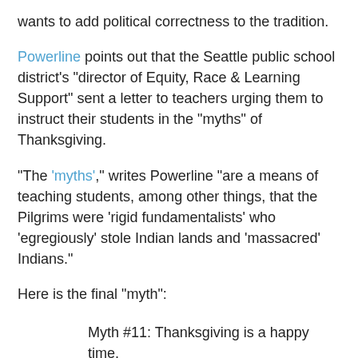wants to add political correctness to the tradition.
Powerline points out that the Seattle public school district's "director of Equity, Race & Learning Support" sent a letter to teachers urging them to instruct their students in the "myths" of Thanksgiving.
"The 'myths'," writes Powerline "are a means of teaching students, among other things, that the Pilgrims were 'rigid fundamentalists' who 'egregiously' stole Indian lands and 'massacred' Indians."
Here is the final "myth":
Myth #11: Thanksgiving is a happy time.
Fact: For many Indian people, “Thanksgiving” is a time of mourning, of remembering how a gift of generosity was rewarded by theft of land and seed corn, extermination of many from disease and gun, and near total destruction of many more from forced assimilation. As currently celebrated